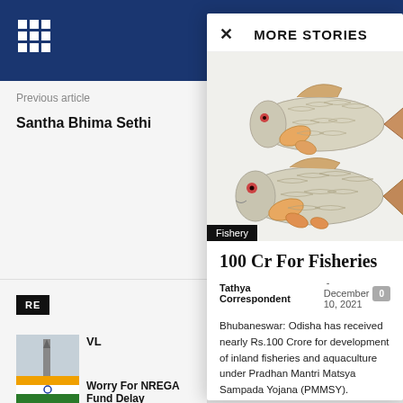MORE STORIES
Previous article
Santha Bhima Sethi
[Figure (photo): Two fresh rohu/catla fish (freshwater carp) shown side by side on white background]
Fishery
100 Cr For Fisheries
Tathya Correspondent - December 10, 2021
Bhubaneswar: Odisha has received nearly Rs.100 Crore for development of inland fisheries and aquaculture under Pradhan Mantri Matsya Sampada Yojana (PMMSY).
VL
Worry For NREGA Fund Delay